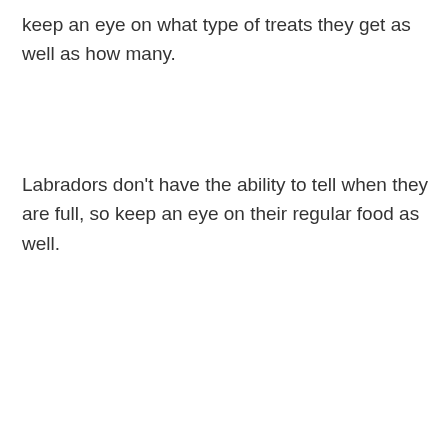keep an eye on what type of treats they get as well as how many.
Labradors don't have the ability to tell when they are full, so keep an eye on their regular food as well.